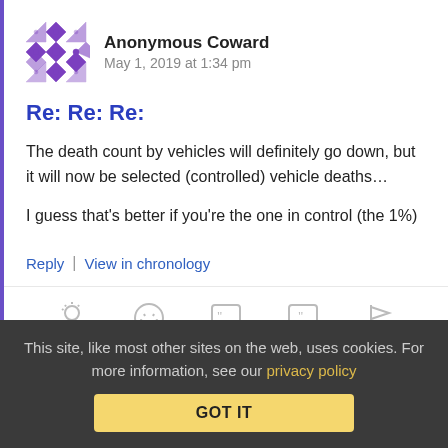Anonymous Coward   May 1, 2019 at 1:34 pm
Re: Re: Re:
The death count by vehicles will definitely go down, but it will now be selected (controlled) vehicle deaths…
I guess that's better if you're the one in control (the 1%)
Reply | View in chronology
[Figure (infographic): Row of five icon buttons: lightbulb (insight), laughing face (funny), open-quote speech bubble, close-quote speech bubble, flag (report)]
This site, like most other sites on the web, uses cookies. For more information, see our privacy policy   GOT IT